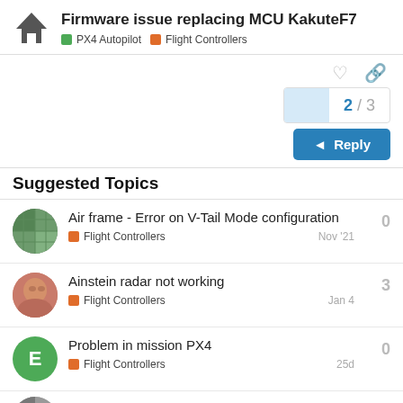Firmware issue replacing MCU KakuteF7 | PX4 Autopilot | Flight Controllers
Suggested Topics
Air frame - Error on V-Tail Mode configuration | Flight Controllers | Nov '21 | 0
Ainstein radar not working | Flight Controllers | Jan 4 | 3
Problem in mission PX4 | Flight Controllers | 25d | 0